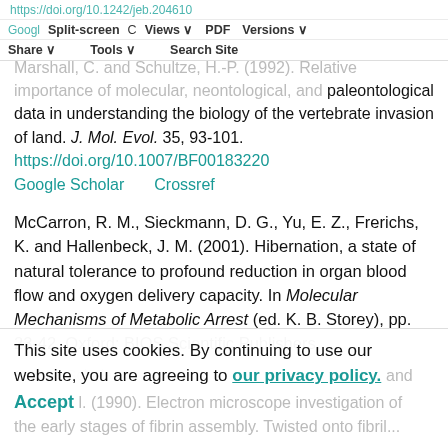Split-screen  Views  PDF  Versions  Share  Tools  Search Site
Marshall, C. and Schultze, H.-P. (1992). Relative importance of molecular, neontological, and paleontological data in understanding the biology of the vertebrate invasion of land. J. Mol. Evol. 35, 93-101. https://doi.org/10.1007/BF00183220 Google Scholar  Crossref
McCarron, R. M., Sieckmann, D. G., Yu, E. Z., Frerichs, K. and Hallenbeck, J. M. (2001). Hibernation, a state of natural tolerance to profound reduction in organ blood flow and oxygen delivery capacity. In Molecular Mechanisms of Metabolic Arrest (ed. K. B. Storey), pp. 23-42. Oxford: BIOS Scientific Publishers.
Google Scholar
This site uses cookies. By continuing to use our website, you are agreeing to our privacy policy. Accept
(1990). Electron microscope investigation of the early stages of fibrin assembly. Twisted onto fibril...